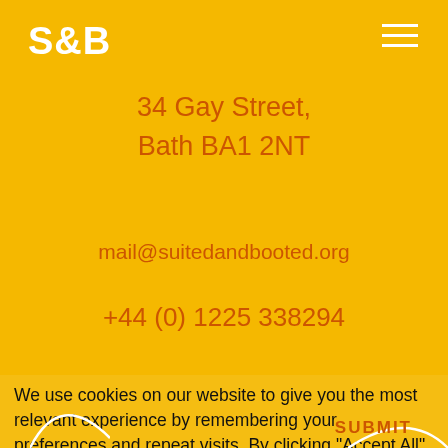S&B
34 Gay Street,
Bath BA1 2NT
mail@suitedandbooted.org
+44 (0) 1225 338294
We use cookies on our website to give you the most relevant experience by remembering your preferences and repeat visits. By clicking “Accept All”, you consent to the use of ALL the cookies. However, you may visit "Cookie Settings" to provide a controlled consent.
Cookie Settings
Accept All
LI
SUBMIT